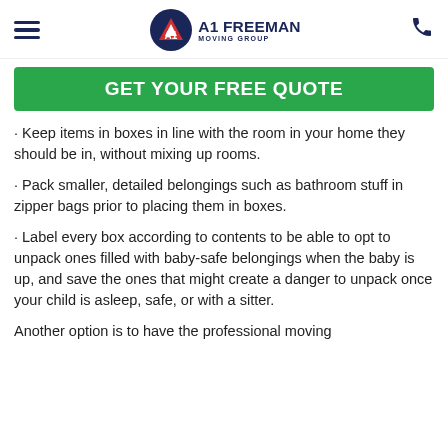A1 Freeman Moving Group
[Figure (logo): A1 Freeman Moving Group logo with hamburger menu and phone icon]
GET YOUR FREE QUOTE
· Keep items in boxes in line with the room in your home they should be in, without mixing up rooms.
· Pack smaller, detailed belongings such as bathroom stuff in zipper bags prior to placing them in boxes.
· Label every box according to contents to be able to opt to unpack ones filled with baby-safe belongings when the baby is up, and save the ones that might create a danger to unpack once your child is asleep, safe, or with a sitter.
Another option is to have the professional moving